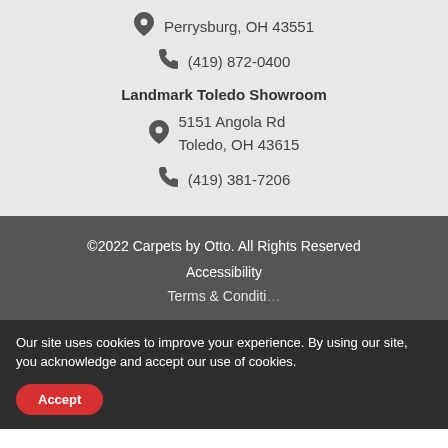Perrysburg, OH 43551
(419) 872-0400
Landmark Toledo Showroom
5151 Angola Rd
Toledo, OH 43615
(419) 381-7206
©2022 Carpets by Otto. All Rights Reserved
Accessibility
Terms & Conditions
Our site uses cookies to improve your experience. By using our site, you acknowledge and accept our use of cookies.
Accept